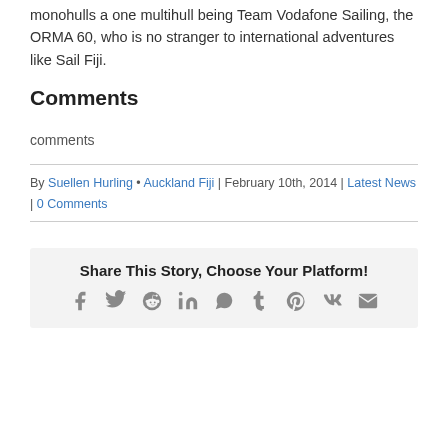monohulls a one multihull being Team Vodafone Sailing, the ORMA 60, who is no stranger to international adventures like Sail Fiji.
Comments
comments
By Suellen Hurling • Auckland Fiji | February 10th, 2014 | Latest News | 0 Comments
Share This Story, Choose Your Platform!